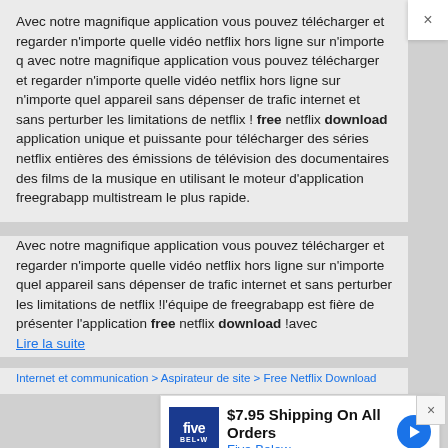Avec notre magnifique application vous pouvez télécharger et regarder n'importe quelle vidéo netflix hors ligne sur n'importe q avec notre magnifique application vous pouvez télécharger et regarder n'importe quelle vidéo netflix hors ligne sur n'importe quel appareil sans dépenser de trafic internet et sans perturber les limitations de netflix ! free netflix download application unique et puissante pour télécharger des séries netflix entières des émissions de télévision des documentaires des films de la musique en utilisant le moteur d'application freegrabapp multistream le plus rapide.
Avec notre magnifique application vous pouvez télécharger et regarder n'importe quelle vidéo netflix hors ligne sur n'importe quel appareil sans dépenser de trafic internet et sans perturber les limitations de netflix !l'équipe de freegrabapp est fière de présenter l'application free netflix download !avec Lire la suite
Internet et communication > Aspirateur de site > Free Netflix Download
[Figure (screenshot): Advertisement banner for Five Below: '$7.95 Shipping On All Orders' with Five Below logo and navigation arrow icon]